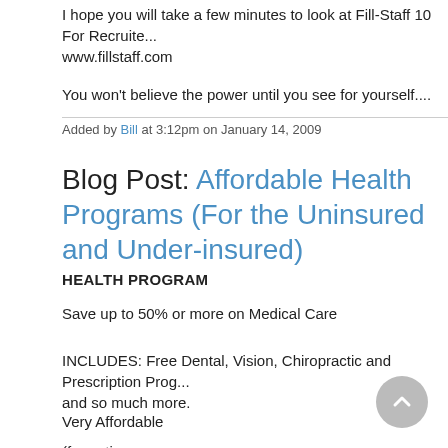I hope you will take a few minutes to look at Fill-Staff 10 For Recruite... www.fillstaff.com
You won't believe the power until you see for yourself....
Added by Bill at 3:12pm on January 14, 2009
Blog Post: Affordable Health Programs (For the Uninsured and Under-insured)
HEALTH PROGRAM
Save up to 50% or more on Medical Care
INCLUDES: Free Dental, Vision, Chiropractic and Prescription Prog... and so much more.
Very Affordable
(for entire…
Added by Damali Samuels at 9:46pm on August 21, 2008